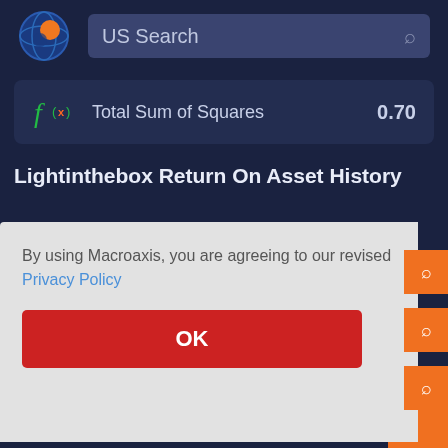[Figure (logo): Macroaxis globe logo with orange and blue colors]
US Search
Lightinthebox Return On Asset History
By using Macroaxis, you are agreeing to our revised Privacy Policy
OK